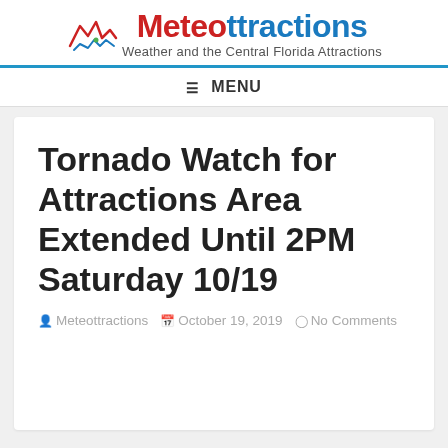Meteottractions — Weather and the Central Florida Attractions
MENU
Tornado Watch for Attractions Area Extended Until 2PM Saturday 10/19
Meteottractions   October 19, 2019   No Comments